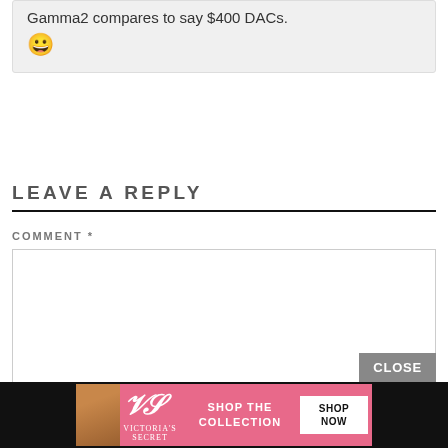Gamma2 compares to say $400 DACs. 😀
LEAVE A REPLY
COMMENT *
[Figure (screenshot): Victoria's Secret advertisement banner with pink background, model photo, 'SHOP THE COLLECTION' text, and 'SHOP NOW' button]
CLOSE